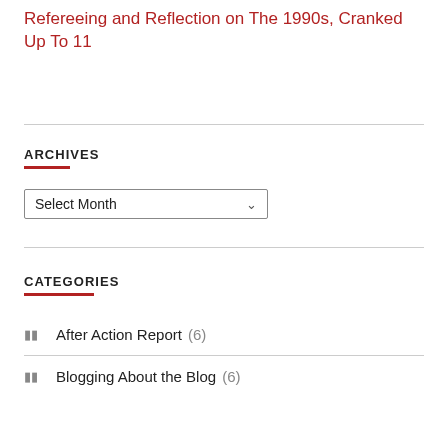Refereeing and Reflection on The 1990s, Cranked Up To 11
ARCHIVES
Select Month
CATEGORIES
After Action Report (6)
Blogging About the Blog (6)